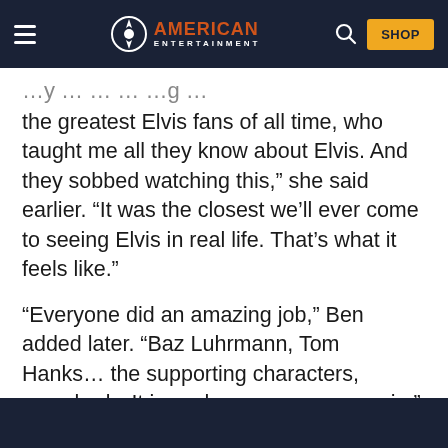American Entertainment — SHOP
the greatest Elvis fans of all time, who taught me all they know about Elvis. And they sobbed watching this,” she said earlier. “It was the closest we’ll ever come to seeing Elvis in real life. That’s what it feels like.”
“Everyone did an amazing job,” Ben added later. “Baz Luhrmann, Tom Hanks… the supporting characters, everybody. It is such an awesome movie.”